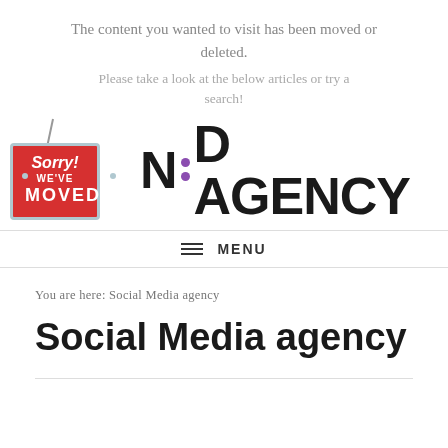The content you wanted to visit has been moved or deleted.
Please take a look at the below articles or try a search!
[Figure (illustration): Red 'Sorry! WE'VE MOVED' hanging sign with light blue border, suspended by two strings]
[Figure (logo): N:D AGENCY logo in bold black text with purple colon dots]
MENU
You are here: Social Media agency
Social Media agency